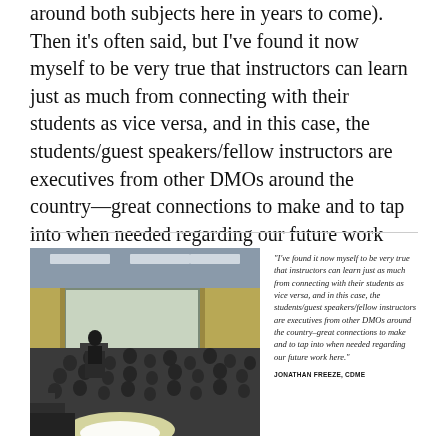around both subjects here in years to come). Then it's often said, but I've found it now myself to be very true that instructors can learn just as much from connecting with their students as vice versa, and in this case, the students/guest speakers/fellow instructors are executives from other DMOs around the country—great connections to make and to tap into when needed regarding our future work here.
[Figure (photo): A speaker at a podium addresses a large audience in a conference room with recessed lighting and curtained windows. A bright light shines from the front of the stage.]
"I've found it now myself to be very true that instructors can learn just as much from connecting with their students as vice versa, and in this case, the students/guest speakers/fellow instructors are executives from other DMOs around the country–great connections to make and to tap into when needed regarding our future work here."
JONATHAN FREEZE, CDME